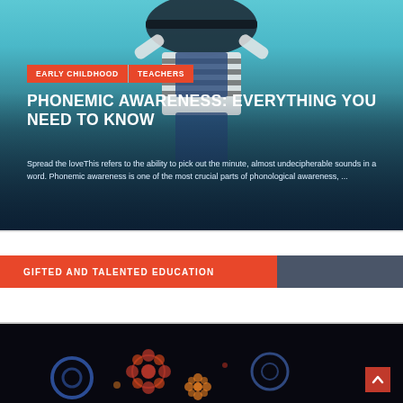[Figure (photo): Child in striped shirt and overalls holding dark hat over face against teal/blue background, overlaid with dark gradient at bottom]
EARLY CHILDHOOD
TEACHERS
PHONEMIC AWARENESS: EVERYTHING YOU NEED TO KNOW
Spread the loveThis refers to the ability to pick out the minute, almost undecipherable sounds in a word. Phonemic awareness is one of the most crucial parts of phonological awareness, ...
GIFTED AND TALENTED EDUCATION
[Figure (photo): Dark background with colorful glowing gear/flower icons and a red scroll-to-top arrow button in the bottom right]